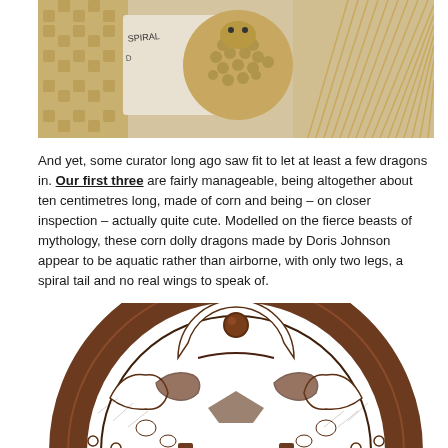[Figure (photo): Photograph of corn dolly dragons made by Doris Johnson, showing intricate woven straw creatures with a label visible in the background reading 'SPIRAL']
And yet, some curator long ago saw fit to let at least a few dragons in. Our first three are fairly manageable, being altogether about ten centimetres long, made of corn and being – on closer inspection – actually quite cute. Modelled on the fierce beasts of mythology, these corn dolly dragons made by Doris Johnson appear to be aquatic rather than airborne, with only two legs, a spiral tail and no real wings to speak of.
[Figure (photo): Photograph of a semicircular bronze or iron decorative piece with ornate cut-out dragon or serpent motifs, heavily corroded, appearing to be an antique architectural or ceremonial object]